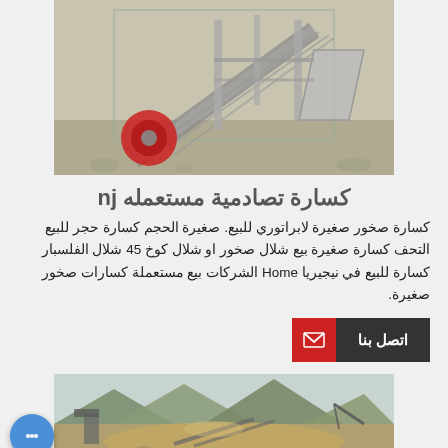[Figure (photo): Close-up photograph of industrial rock crusher machinery, showing metal frame, red belt drive wheel, and steel components on gravel ground.]
كسارة تصادمية مستعمله nj
كسارة صخور صغيرة لابراتوري للبيع. صغيرة الحجم كسارة حجر للبيع التحف كسارة صغيرة بيع شلال صخور او شلال كوخ 45 شلال الفلسبار كسارة للبيع في نيجيريا Home الشركات بيع مستعملة كسارات صخور صغيرة.
[Figure (photo): Outdoor photograph of a rock crushing operation site with machinery and mountains in the background.]